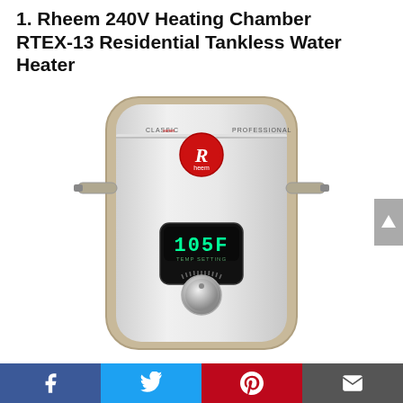1. Rheem 240V Heating Chamber RTEX-13 Residential Tankless Water Heater
[Figure (photo): Product photo of the Rheem RTEX-13 Residential Tankless Water Heater — a compact silver/white unit with a rounded rectangular body, tan/gold border frame, Rheem red logo badge in the center top, text labels 'CLASSIC series' and 'PROFESSIONAL', a black digital display showing '105F TEMP SETTING', a silver rotary dial knob below the display, and two horizontal water pipe connections on left and right sides.]
Facebook | Twitter | Pinterest | Email share buttons